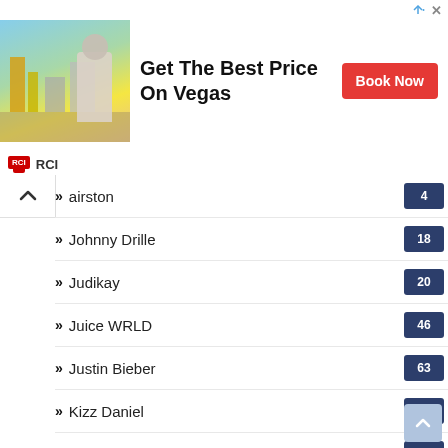[Figure (other): Advertisement banner: 'Get The Best Price On Vegas' with Book Now button and RCI branding, travel photo of man with camera in Las Vegas]
...airston — 4
Johnny Drille — 18
Judikay — 20
Juice WRLD — 46
Justin Bieber — 63
Kizz Daniel — 11
Kodak Black — 37
Korede Bello — 22
Laycon — 12
Mayorkun — 22